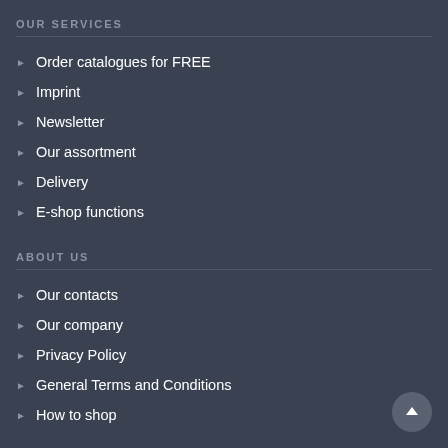OUR SERVICES
Order catalogues for FREE
Imprint
Newsletter
Our assortment
Delivery
E-shop functions
ABOUT US
Our contacts
Our company
Privacy Policy
General Terms and Conditions
How to shop